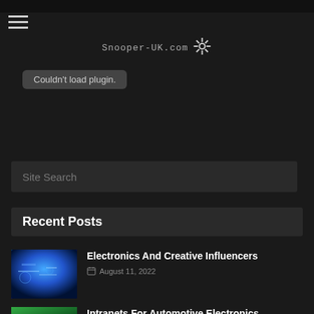[Figure (logo): Snooper-UK.com logo with stylized pinwheel/asterisk icon]
Couldn't load plugin.
Site Search
Recent Posts
[Figure (photo): Blue-toned close-up photo of electronics/circuit board]
Electronics And Creative Influencers
August 11, 2022
[Figure (photo): Green-toned photo, partially visible at bottom]
Intranets For Automotive Electronics